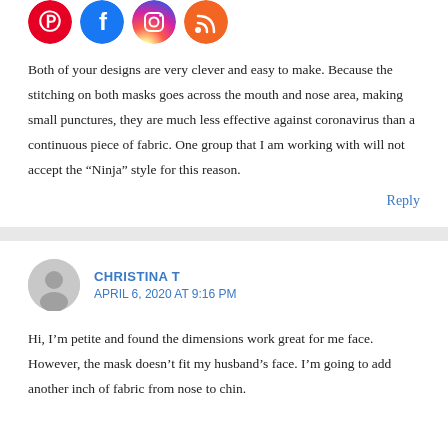[Figure (infographic): Row of four circular social media icons: Pinterest (red), Facebook (blue), Instagram (gradient purple-orange), RSS (orange)]
Both of your designs are very clever and easy to make. Because the stitching on both masks goes across the mouth and nose area, making small punctures, they are much less effective against coronavirus than a continuous piece of fabric. One group that I am working with will not accept the “Ninja” style for this reason.
Reply
CHRISTINA T
APRIL 6, 2020 AT 9:16 PM
Hi, I’m petite and found the dimensions work great for me face. However, the mask doesn’t fit my husband’s face. I’m going to add another inch of fabric from nose to chin.